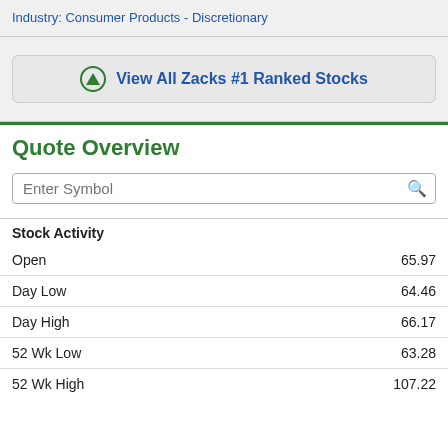Industry: Consumer Products - Discretionary
View All Zacks #1 Ranked Stocks
Quote Overview
Enter Symbol
|  |  |
| --- | --- |
| Open | 65.97 |
| Day Low | 64.46 |
| Day High | 66.17 |
| 52 Wk Low | 63.28 |
| 52 Wk High | 107.22 |